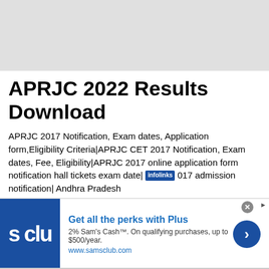[Figure (other): Grey header banner area at top of page]
APRJC 2022 Results Download
APRJC 2017 Notification, Exam dates, Application form,Eligibility Criteria|APRJC CET 2017 Notification, Exam dates, Fee, Eligibility|APRJC 2017 online application form notification hall tickets exam date| [infolinks] 017 admission notification| Andhra Pradesh
[Figure (screenshot): Advertisement banner: Sam's Club - Get all the perks with Plus. 2% Sam's Cash. On qualifying purchases, up to $500/year. www.samsclub.com]